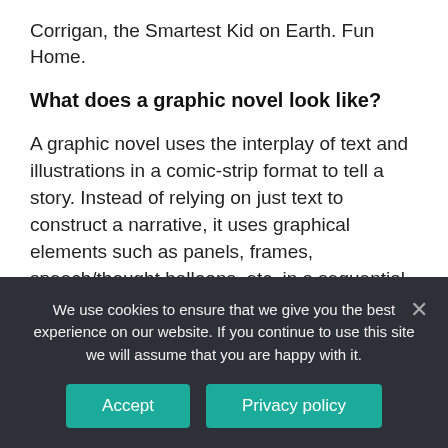Corrigan, the Smartest Kid on Earth. Fun Home.
What does a graphic novel look like?
A graphic novel uses the interplay of text and illustrations in a comic-strip format to tell a story. Instead of relying on just text to construct a narrative, it uses graphical elements such as panels, frames, speech/thought balloons, etc. in a sequential way to create and evoke a story in a reader's mind.
How can you tell if a comic
We use cookies to ensure that we give you the best experience on our website. If you continue to use this site we will assume that you are happy with it.